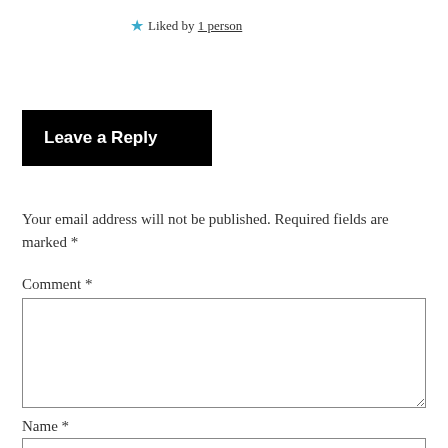★ Liked by 1person
Leave a Reply
Your email address will not be published. Required fields are marked *
Comment *
Name *